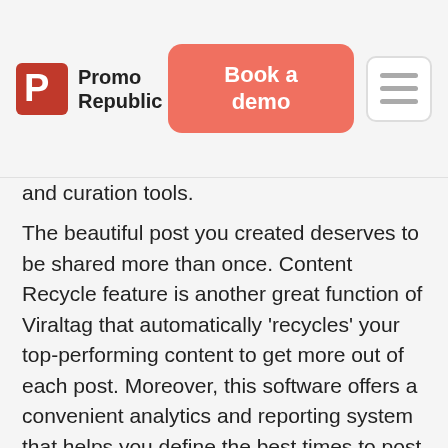Promo Republic | Book a demo
and curation tools.
The beautiful post you created deserves to be shared more than once. Content Recycle feature is another great function of Viraltag that automatically ‘recycles’ your top-performing content to get more out of each post. Moreover, this software offers a convenient analytics and reporting system that helps you define the best times to post and which content drives more engagement.
Pros: multiplatform, has an image editor & Canva